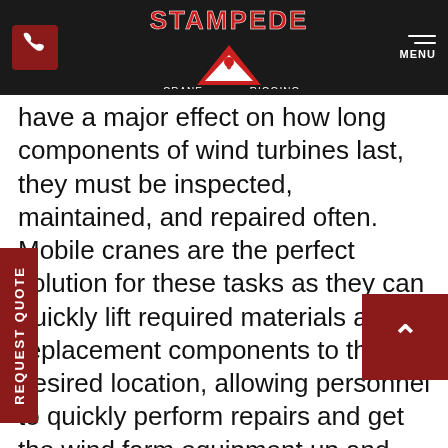Stampede Crane & Rigging — navigation bar with logo, phone icon, and MENU
have a major effect on how long components of wind turbines last, they must be inspected, maintained, and repaired often. Mobile cranes are the perfect solution for these tasks as they can quickly lift required materials and replacement components to the desired location, allowing personnel to quickly perform repairs and get the wind farm equipment up and running as soon as possible.
To learn more about our selection of mobile crane rentals or for assistance choosing the perfect unit for your project, get in touch with the team at Stampede Crane & Rigging. We can be reached through our online contact form and will be happy to assist you